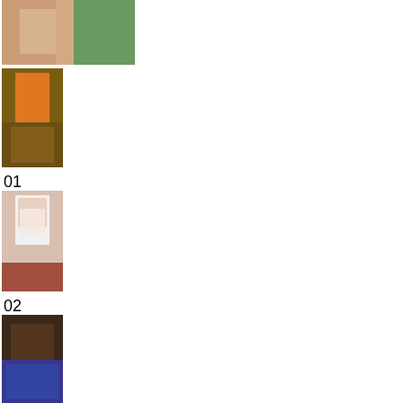[Figure (photo): Photo thumbnail at top, partially cropped - appears to show a person outdoors]
[Figure (photo): Thumbnail photo showing person in orange clothing]
01
[Figure (photo): Thumbnail photo showing a baby/toddler in white outfit]
02
[Figure (photo): Thumbnail photo showing close-up with dark tones]
03
[Figure (photo): Thumbnail photo showing a child in warm lighting]
04
[Figure (photo): Thumbnail photo showing a girl wearing sunglasses]
05
[Figure (photo): Partially visible thumbnail photo at bottom]